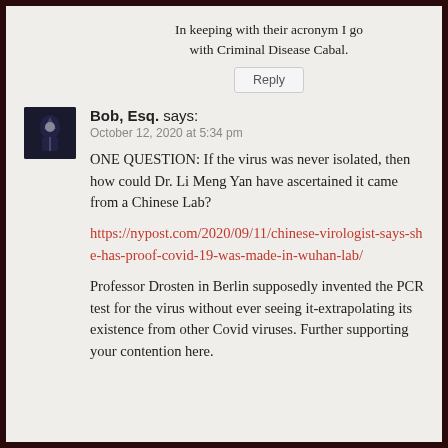In keeping with their acronym I go with Criminal Disease Cabal.
Reply
Bob, Esq. says:
October 12, 2020 at 5:34 pm
ONE QUESTION: If the virus was never isolated, then how could Dr. Li Meng Yan have ascertained it came from a Chinese Lab?
https://nypost.com/2020/09/11/chinese-virologist-says-she-has-proof-covid-19-was-made-in-wuhan-lab/
Professor Drosten in Berlin supposedly invented the PCR test for the virus without ever seeing it-extrapolating its existence from other Covid viruses. Further supporting your contention here.